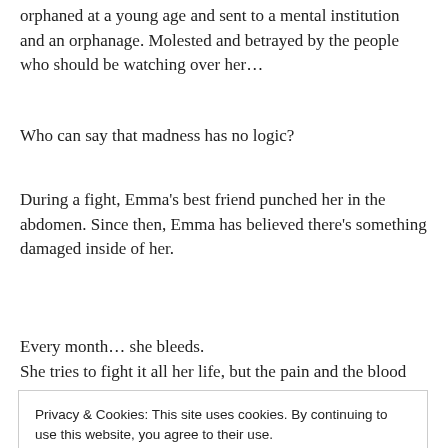orphaned at a young age and sent to a mental institution and an orphanage. Molested and betrayed by the people who should be watching over her…
Who can say that madness has no logic?
During a fight, Emma's best friend punched her in the abdomen. Since then, Emma has believed there's something damaged inside of her.
Every month… she bleeds.
She tries to fight it all her life, but the pain and the blood
Privacy & Cookies: This site uses cookies. By continuing to use this website, you agree to their use.
To find out more, including how to control cookies, see here: Cookie Policy
Close and accept
She knows how to make things right…